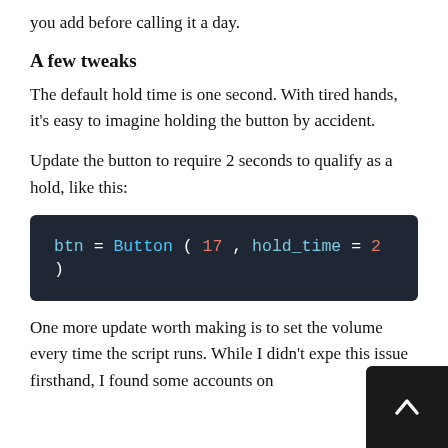you add before calling it a day.
A few tweaks
The default hold time is one second. With tired hands, it's easy to imagine holding the button by accident.
Update the button to require 2 seconds to qualify as a hold, like this:
[Figure (screenshot): Code block showing: btn = Button(17, hold_time=2)]
One more update worth making is to set the volume every time the script runs. While I didn't expe this issue firsthand, I found some accounts on